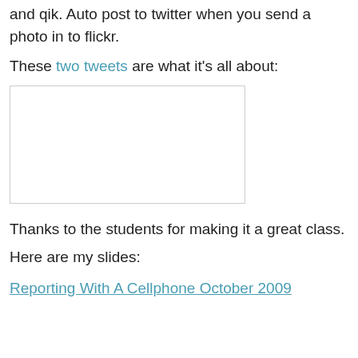and qik. Auto post to twitter when you send a photo in to flickr.
These two tweets are what it's all about:
[Figure (screenshot): Embedded screenshot/image placeholder with light grey border, content not visible]
Thanks to the students for making it a great class.
Here are my slides:
Reporting With A Cellphone October 2009